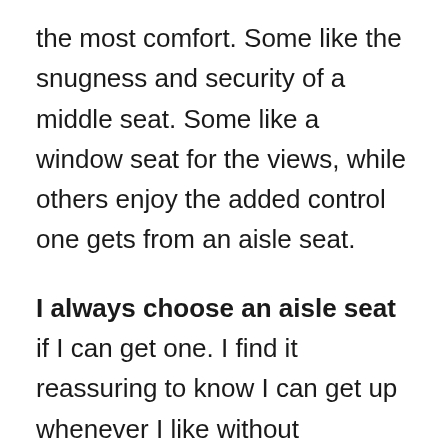the most comfort. Some like the snugness and security of a middle seat. Some like a window seat for the views, while others enjoy the added control one gets from an aisle seat.
I always choose an aisle seat if I can get one. I find it reassuring to know I can get up whenever I like without disturbing anyone. I once took a flight from Doha to Hong Kong and was stuck in between two strangers. The person to my left in the aisle seat cocooned himself in so much. I